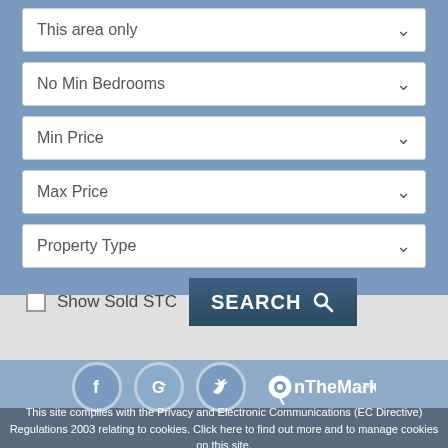This area only
No Min Bedrooms
Min Price
Max Price
Property Type
Show Sold STC
SEARCH
[Figure (logo): OnTheMarket.com logo with social media icons (Facebook, Google+, Twitter)]
This site complies with the Privacy and Electronic Communications (EC Directive) Regulations 2003 relating to cookies. Click here to find out more and to manage cookies on this site.